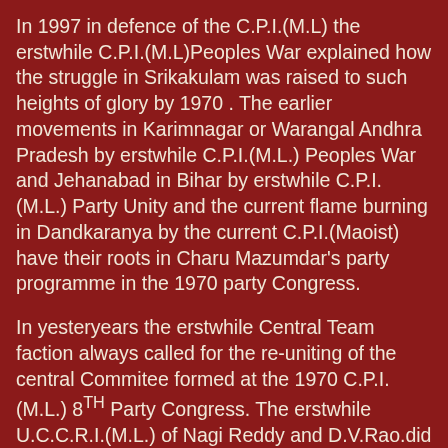In 1997 in defence of the C.P.I.(M.L) the erstwhile C.P.I.(M.L)Peoples War explained how the struggle in Srikakulam was raised to such heights of glory by 1970 . The earlier movements in Karimnagar or Warangal Andhra Pradesh by erstwhile C.P.I.(M.L.) Peoples War and Jehanabad in Bihar by erstwhile C.P.I.(M.L.) Party Unity and the current flame burning in Dandkaranya by the current C.P.I.(Maoist) have their roots in Charu Mazumdar's party programme in the 1970 party Congress.
In yesteryears the erstwhile Central Team faction always called for the re-uniting of the central Commitee formed at the 1970 C.P.I.(M.L.) 8TH Party Congress. The erstwhile U.C.C.R.I.(M.L.) of Nagi Reddy and D.V.Rao.did not give Comrade CM the appraisal he deserved .
Significantly the erstwhile Central Team of the C.P.I.(M.L.) which upheld C.M. critically merged with the C.C.R.I in 1994 which upheld the line of Nagi Reddy. into the C.P.R.C.I.(M.L. )Like Maoist Communist Centre steams remained outside the C.P.I.(M.L.) like the Chandra Pulla Reddy and Nagi Reddy factions, but they later went to...